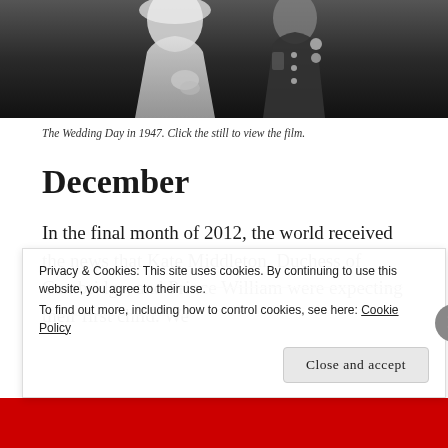[Figure (photo): Black and white photograph of a wedding day in 1947, showing a bride in a white dress and a groom in military uniform.]
The Wedding Day in 1947. Click the still to view the film.
December
In the final month of 2012, the world received the news that Kate Middleton, Duchess of Cambridge, and Prince William were expecting their first child. We
Privacy & Cookies: This site uses cookies. By continuing to use this website, you agree to their use.
To find out more, including how to control cookies, see here: Cookie Policy
Close and accept